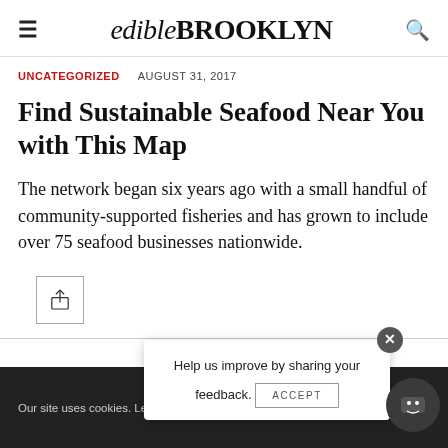edible BROOKLYN
UNCATEGORIZED   AUGUST 31, 2017
Find Sustainable Seafood Near You with This Map
The network began six years ago with a small handful of community-supported fisheries and has grown to include over 75 seafood businesses nationwide.
[Figure (other): Share button icon — a box with an upward arrow]
Our site uses cookies. Lea...  Help us improve by sharing your feedback.  ...okie  ACCEPT